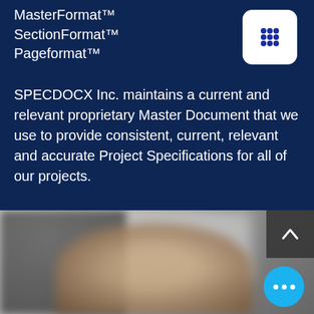MasterFormat™
SectionFormat™
Pageformat™
[Figure (logo): White rounded square icon with a 3x3 grid of blue dots]
SPECDOCX Inc. maintains a current and relevant proprietary Master Document that we use to provide consistent, current, relevant and accurate Project Specifications for all of our projects.
[Figure (photo): Blurred photograph of two people shaking hands, dark background on left, light center, with a scroll-up button and a blue dots menu button overlaid]